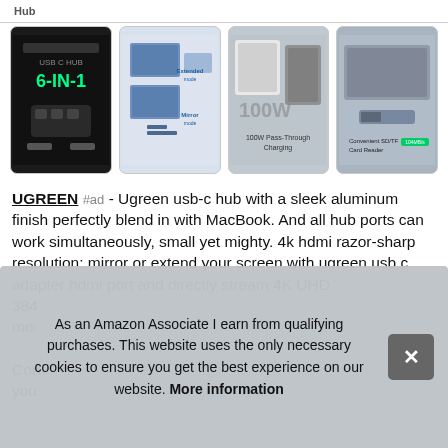Hub
[Figure (photo): Four product thumbnail images of UGREEN USB-C hub showing: 1) 6-in-1 hub on dark background, 2) hub in extended/mirror mode with laptop, 3) hub showing 100W Pass-Through Charging, 4) Convenient SD/TF Card Reader]
UGREEN #ad - Ugreen usb-c hub with a sleek aluminum finish perfectly blend in with MacBook. And all hub ports can work simultaneously, small yet mighty. 4k hdmi razor-sharp resolution: mirror or extend your screen with ugreen usb c adapter hdmi port and directly stream 4K UHD 384...mor...Con...you...
As an Amazon Associate I earn from qualifying purchases. This website uses the only necessary cookies to ensure you get the best experience on our website. More information